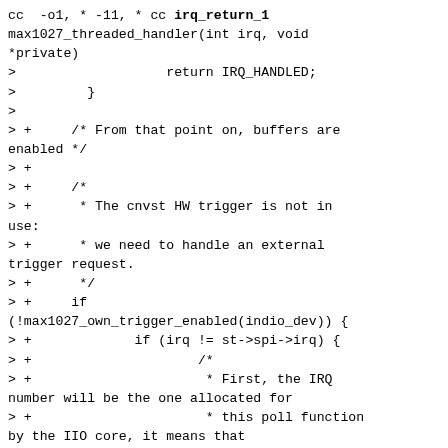cc -o1, * -11, * cc irq_return_1 max1027_threaded_handler(int irq, void *private)
>			return IRQ_HANDLED;
>		}
>
> +	/* From that point on, buffers are enabled */
> +
> +	/*
> +	 * The cnvst HW trigger is not in use:
> +	 * we need to handle an external trigger request.
> +	 */
> +	if (!max1027_own_trigger_enabled(indio_dev)) {
> +			if (irq != st->spi->irq) {
> +				/*
> +				 * First, the IRQ number will be the one allocated for
> +				 * this poll function by the IIO core, it means that
> +				 * this is an external trigger request, we need to start
> +				 * a conversion.
> +				 */
> +				ret = max1027_configure_chans_and_start(indio_dev);
> +				if (ret)
> +					goto out;